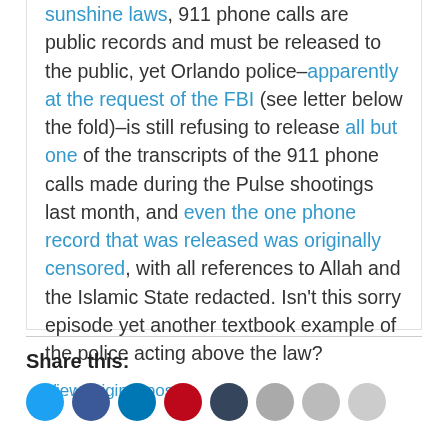sunshine laws, 911 phone calls are public records and must be released to the public, yet Orlando police–apparently at the request of the FBI (see letter below the fold)–is still refusing to release all but one of the transcripts of the 911 phone calls made during the Pulse shootings last month, and even the one phone record that was released was originally censored, with all references to Allah and the Islamic State redacted. Isn't this sorry episode yet another textbook example of the police acting above the law?
View original post
Share this: